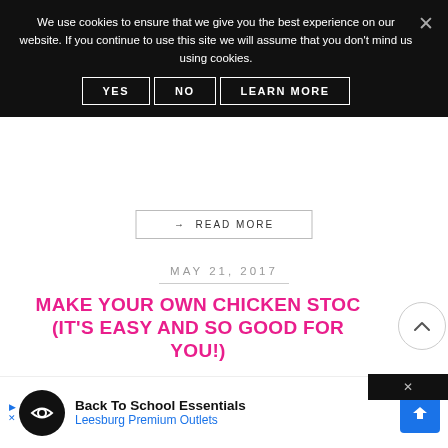We use cookies to ensure that we give you the best experience on our website. If you continue to use this site we will assume that you don't mind us using cookies.
YES  NO  LEARN MORE
→ READ MORE
MAY 21, 2017
MAKE YOUR OWN CHICKEN STOCK (IT'S EASY AND SO GOOD FOR YOU!)
[Figure (photo): Partial view of article photo showing dark food/cooking image]
[Figure (infographic): Advertisement banner: Back To School Essentials, Leesburg Premium Outlets, with navigation icon]